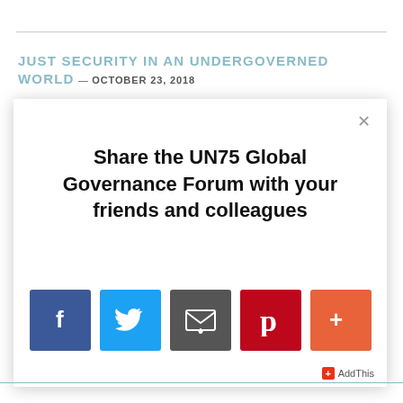JUST SECURITY IN AN UNDERGOVERNED WORLD — OCTOBER 23, 2018
[Figure (screenshot): A modal dialog box with a white background and drop shadow containing bold text 'Share the UN75 Global Governance Forum with your friends and colleagues' and five social sharing icon buttons: Facebook (blue), Twitter (light blue), Email (dark grey), Pinterest (red), and a More/AddThis button (orange-red). An X close button appears in the top right. An AddThis branding badge appears at the bottom right.]